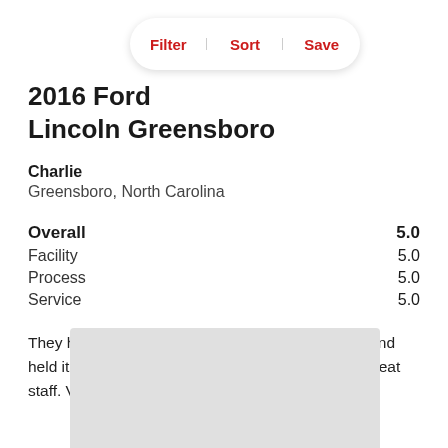2016 Ford Lincoln Greensboro
Charlie
Greensboro, North Carolina
Overall 5.0
Facility 5.0
Process 5.0
Service 5.0
They helped me find just the car I was looking for and held it until I could drive out there to purchase it. Great staff. Very friendly and easy to work with.